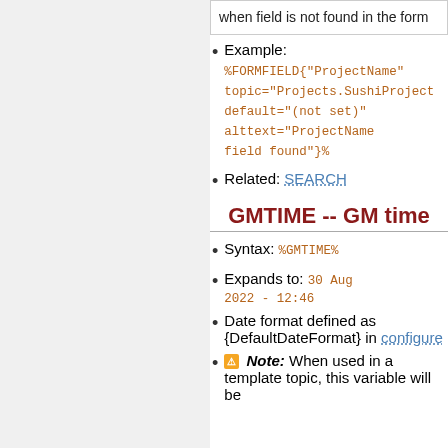| when field is not found in the form |
Example: %FORMFIELD{"ProjectName" topic="Projects.SushiProject" default="(not set)" alttext="ProjectName field found"}%
Related: SEARCH
GMTIME -- GM time
Syntax: %GMTIME%
Expands to: 30 Aug 2022 - 12:46
Date format defined as {DefaultDateFormat} in configure
⚠ Note: When used in a template topic, this variable will be